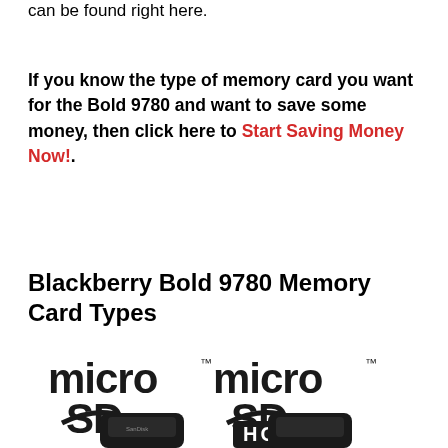can be found right here.
If you know the type of memory card you want for the Bold 9780 and want to save some money, then click here to Start Saving Money Now!.
Blackberry Bold 9780 Memory Card Types
[Figure (illustration): microSD and microSDHC logos with two black memory card adapters below]